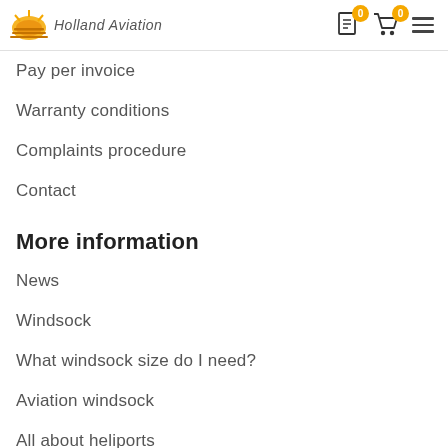Holland Aviation — header with cart icons
Pay per invoice
Warranty conditions
Complaints procedure
Contact
More information
News
Windsock
What windsock size do I need?
Aviation windsock
All about heliports
About us